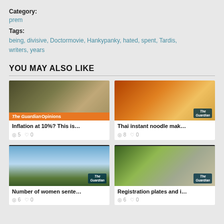Category:
prem
Tags:
being, divisive, Doctormovie, Hankypanky, hated, spent, Tardis, writers, years
YOU MAY ALSO LIKE
[Figure (photo): Military equipment with a person in background, The Guardian Opinions banner]
Inflation at 10%? This is…
5  0
[Figure (photo): Hands working on colorful tablets/food items, The Guardian logo]
Thai instant noodle mak…
8  0
[Figure (photo): Cloudy sky over water/fence landscape, The Guardian logo]
Number of women sente…
6  0
[Figure (photo): Cyclist in yellow jacket on road with cars, The Guardian logo]
Registration plates and i…
6  0